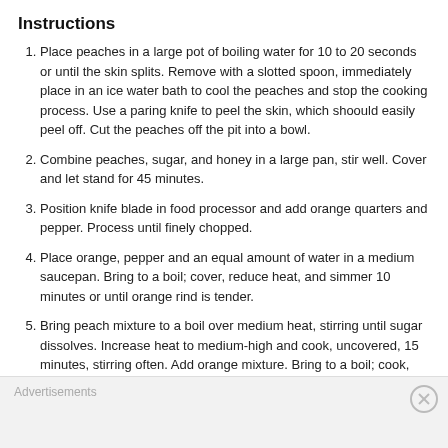Instructions
Place peaches in a large pot of boiling water for 10 to 20 seconds or until the skin splits. Remove with a slotted spoon, immediately place in an ice water bath to cool the peaches and stop the cooking process. Use a paring knife to peel the skin, which shoould easily peel off. Cut the peaches off the pit into a bowl.
Combine peaches, sugar, and honey in a large pan, stir well. Cover and let stand for 45 minutes.
Position knife blade in food processor and add orange quarters and pepper. Process until finely chopped.
Place orange, pepper and an equal amount of water in a medium saucepan. Bring to a boil; cover, reduce heat, and simmer 10 minutes or until orange rind is tender.
Bring peach mixture to a boil over medium heat, stirring until sugar dissolves. Increase heat to medium-high and cook, uncovered, 15 minutes, stirring often. Add orange mixture. Bring to a boil; cook, uncovered 20 to 25 minutes or until candy thermoneter registers
Advertisements